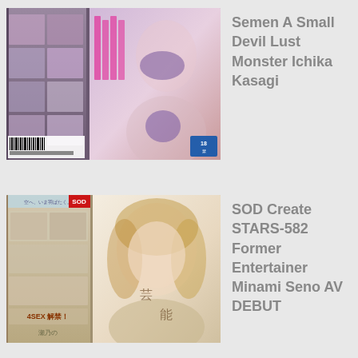[Figure (photo): DVD/Blu-ray cover image for adult video product featuring Japanese text and woman in purple lingerie]
Semen A Small Devil Lust Monster Ichika Kasagi
[Figure (photo): DVD/Blu-ray cover image for SOD Create STARS-582 featuring Minami Seno]
SOD Create STARS-582 Former Entertainer Minami Seno AV DEBUT